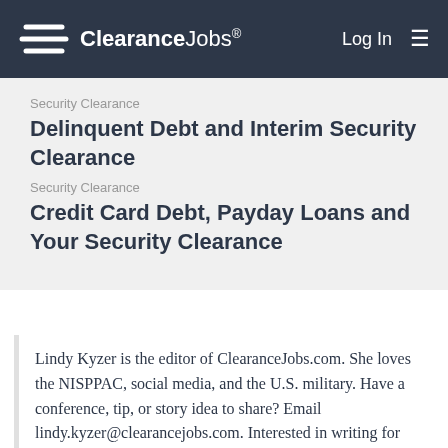ClearanceJobs® — Log In
Security Clearance
Delinquent Debt and Interim Security Clearance
Security Clearance
Credit Card Debt, Payday Loans and Your Security Clearance
Lindy Kyzer is the editor of ClearanceJobs.com. She loves the NISPPAC, social media, and the U.S. military. Have a conference, tip, or story idea to share? Email lindy.kyzer@clearancejobs.com. Interested in writing for ClearanceJobs.com? Learn more